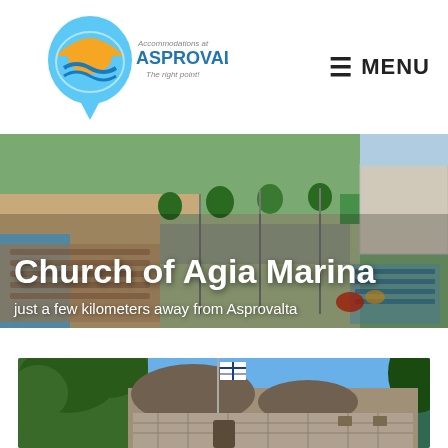[Figure (logo): Asprovalta accommodations logo: a blue map pin with sun and waves, text 'Accommodations at ASPROVALTA The right point!']
≡ MENU
[Figure (photo): Aerial view of Asprovalta beach with sunbeds, beach umbrellas, sandy shore, promenade, parked cars, trees and buildings]
Church of Agia Marina
just a few kilometers away from Asprovalta
[Figure (photo): Ground level photo of the Church of Agia Marina: a traditional Byzantine-style stone church with curved roof, trees, a flagpole with Greek flag, blue sky]